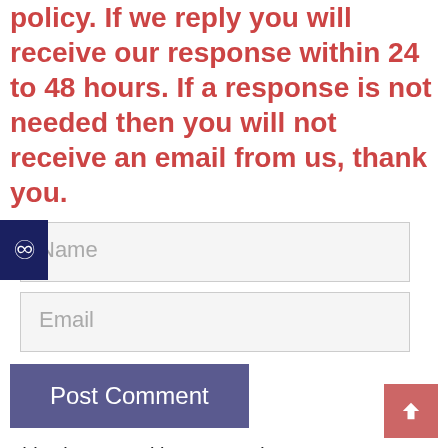policy. If we reply you will receive our response within 24 to 48 hours. If a response is not needed then you will not receive an email from us, thank you.
Name
Email
Post Comment
This site uses Akismet to reduce spam. Learn how your comment data is processed.